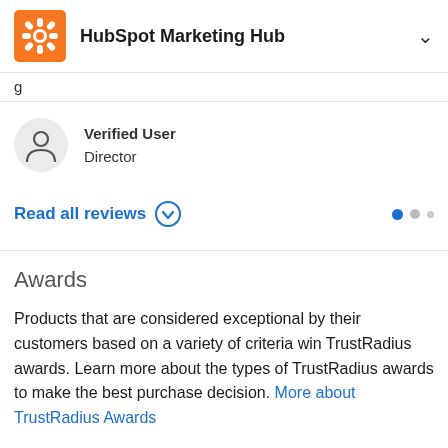HubSpot Marketing Hub
g
Verified User
Director
Read all reviews
Awards
Products that are considered exceptional by their customers based on a variety of criteria win TrustRadius awards. Learn more about the types of TrustRadius awards to make the best purchase decision. More about TrustRadius Awards